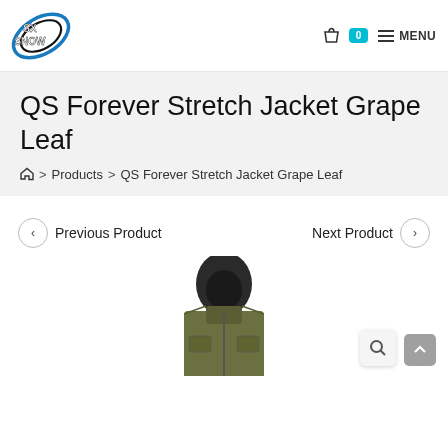SX Snow logo, cart icon, 0, MENU
QS Forever Stretch Jacket Grape Leaf
Home > Products > QS Forever Stretch Jacket Grape Leaf
< Previous Product   Next Product >
[Figure (photo): Partial view of a green/olive QS Forever Stretch Jacket with black hood, shown from the front, cut off at the torso.]